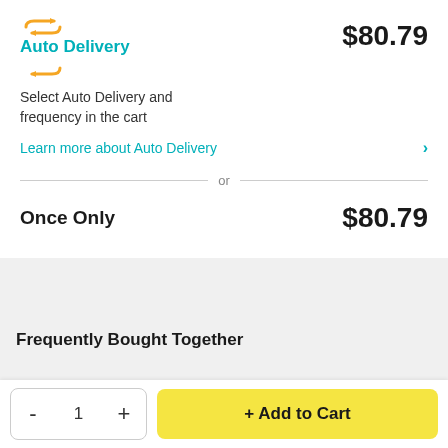[Figure (logo): Auto Delivery logo with circular orange arrows and teal text]
$80.79
Select Auto Delivery and frequency in the cart
Learn more about Auto Delivery
or
Once Only
$80.79
Frequently Bought Together
- 1 + Add to Cart